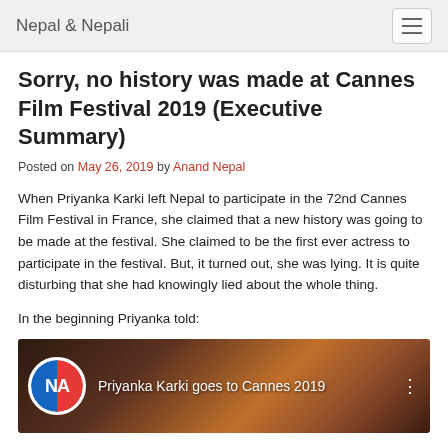Nepal & Nepali
Sorry, no history was made at Cannes Film Festival 2019 (Executive Summary)
Posted on May 26, 2019 by Anand Nepal
When Priyanka Karki left Nepal to participate in the 72nd Cannes Film Festival in France, she claimed that a new history was going to be made at the festival. She claimed to be the first ever actress to participate in the festival. But, it turned out, she was lying. It is quite disturbing that she had knowingly lied about the whole thing.
In the beginning Priyanka told:
[Figure (screenshot): YouTube video thumbnail showing 'Priyanka Karki goes to Cannes 2019' with channel logo NA and a woman in a red dress against a sunset background]